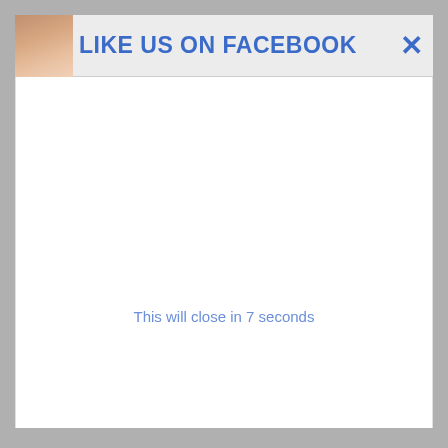[Figure (screenshot): Top header area showing partial image of a person on the left, with blue bold text 'LIKE US ON FACEBOOK' and a blue X close button on the right]
LIKE US ON FACEBOOK ✕
This will close in 7 seconds